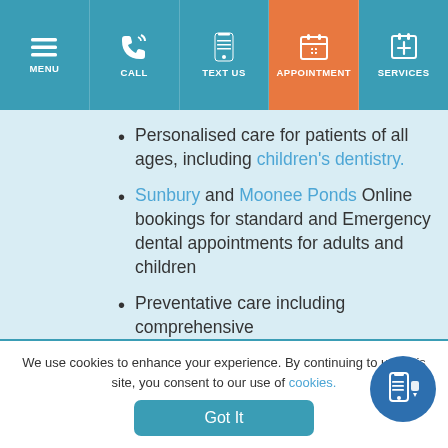MENU | CALL | TEXT US | APPOINTMENT | SERVICES
Personalised care for patients of all ages, including children's dentistry.
Sunbury and Moonee Ponds Online bookings for standard and Emergency dental appointments for adults and children
Preventative care including comprehensive
We use cookies to enhance your experience. By continuing to use this site, you consent to our use of cookies.
Got It